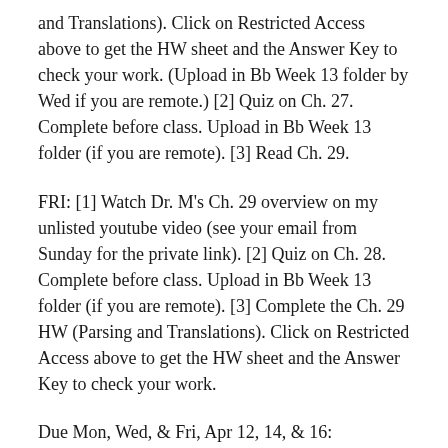and Translations). Click on Restricted Access above to get the HW sheet and the Answer Key to check your work. (Upload in Bb Week 13 folder by Wed if you are remote.) [2] Quiz on Ch. 27. Complete before class. Upload in Bb Week 13 folder (if you are remote). [3] Read Ch. 29.
FRI: [1] Watch Dr. M's Ch. 29 overview on my unlisted youtube video (see your email from Sunday for the private link). [2] Quiz on Ch. 28. Complete before class. Upload in Bb Week 13 folder (if you are remote). [3] Complete the Ch. 29 HW (Parsing and Translations). Click on Restricted Access above to get the HW sheet and the Answer Key to check your work.
Due Mon, Wed, & Fri, Apr 12, 14, & 16: